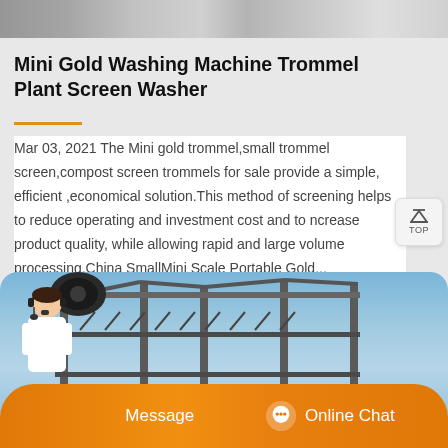[Figure (photo): Top strip showing partial industrial/machinery photo in grayscale]
Mini Gold Washing Machine Trommel Plant Screen Washer
Mar 03, 2021 The Mini gold trommel,small trommel screen,compost screen trommels for sale provide a simple, efficient ,economical solution.This method of screening helps to reduce operating and investment cost and to ncrease product quality, while allowing rapid and large volume processing.China SmallMini Scale Portable Gold...
[Figure (photo): Industrial trommel screen washing machine equipment photographed outdoors against blue sky, with orange message/chat bar overlay at bottom showing customer service representative and Message and Online Chat buttons]